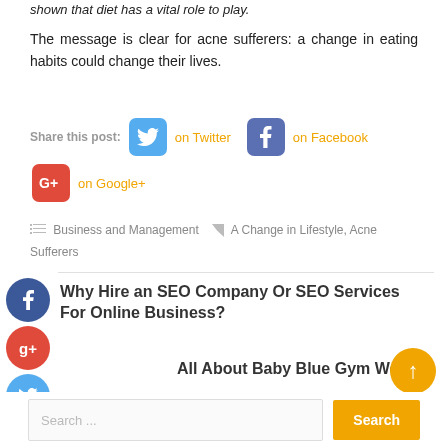shown that diet has a vital role to play.
The message is clear for acne sufferers: a change in eating habits could change their lives.
Share this post: on Twitter on Facebook on Google+
Business and Management  A Change in Lifestyle, Acne Sufferers
Why Hire an SEO Company Or SEO Services For Online Business?
All About Baby Blue Gym Wear →
[Figure (other): Search bar with search input field and orange Search button, with scroll-to-top button]